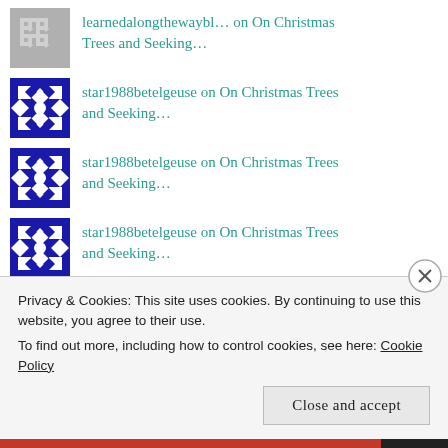learnedalongthewaybl… on On Christmas Trees and Seeking…
star1988betelgeuse on On Christmas Trees and Seeking…
star1988betelgeuse on On Christmas Trees and Seeking…
star1988betelgeuse on On Christmas Trees and Seeking…
Privacy & Cookies: This site uses cookies. By continuing to use this website, you agree to their use.
To find out more, including how to control cookies, see here: Cookie Policy
Close and accept